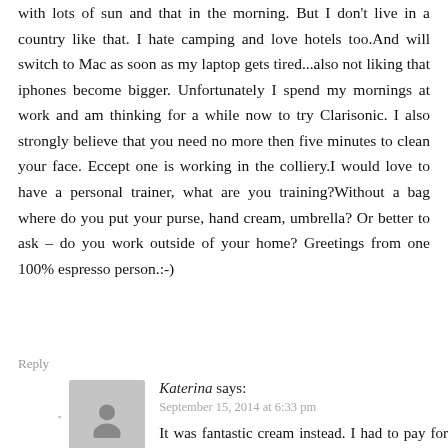with lots of sun and that in the morning. But I don't live in a country like that. I hate camping and love hotels too.And will switch to Mac as soon as my laptop gets tired...also not liking that iphones become bigger. Unfortunately I spend my mornings at work and am thinking for a while now to try Clarisonic. I also strongly believe that you need no more then five minutes to clean your face. Eccept one is working in the colliery.I would love to have a personal trainer, what are you training?Without a bag where do you put your purse, hand cream, umbrella? Or better to ask – do you work outside of your home? Greetings from one 100% espresso person.:-)
Reply
Katerina says:
September 15, 2014 at 6:33 pm
It was fantastic cream instead. I had to pay for it with 3 hours at the gym today so honestly I